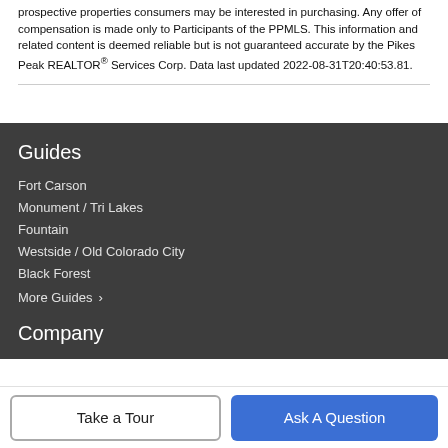prospective properties consumers may be interested in purchasing. Any offer of compensation is made only to Participants of the PPMLS. This information and related content is deemed reliable but is not guaranteed accurate by the Pikes Peak REALTOR® Services Corp. Data last updated 2022-08-31T20:40:53.81.
Guides
Fort Carson
Monument / Tri Lakes
Fountain
Westside / Old Colorado City
Black Forest
More Guides ›
Company
Take a Tour
Ask A Question